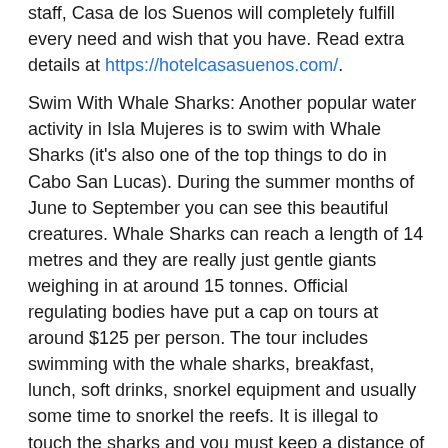staff, Casa de los Suenos will completely fulfill every need and wish that you have. Read extra details at https://hotelcasasuenos.com/.
Swim With Whale Sharks: Another popular water activity in Isla Mujeres is to swim with Whale Sharks (it's also one of the top things to do in Cabo San Lucas). During the summer months of June to September you can see this beautiful creatures. Whale Sharks can reach a length of 14 metres and they are really just gentle giants weighing in at around 15 tonnes. Official regulating bodies have put a cap on tours at around $125 per person. The tour includes swimming with the whale sharks, breakfast, lunch, soft drinks, snorkel equipment and usually some time to snorkel the reefs. It is illegal to touch the sharks and you must keep a distance of 2 metres. It's important that you do your research and go with a reputable, eco-conscious tour company that regulates and respects the rules.